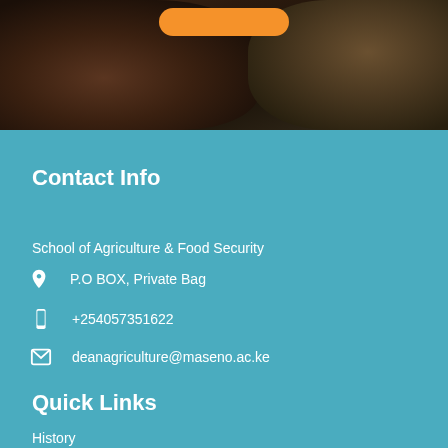[Figure (photo): Photograph of animals (livestock/cattle) in a dark outdoor setting with an orange button element at the top center]
Contact Info
School of Agriculture & Food Security
P.O BOX, Private Bag
+254057351622
deanagriculture@maseno.ac.ke
Quick Links
History